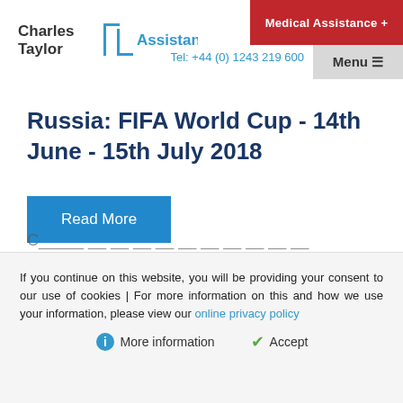Charles Taylor Assistance | Medical Assistance + | Tel: +44 (0) 1243 219 600 | Menu
Russia: FIFA World Cup - 14th June - 15th July 2018
Read More
If you continue on this website, you will be providing your consent to our use of cookies | For more information on this and how we use your information, please view our online privacy policy
More information   Accept